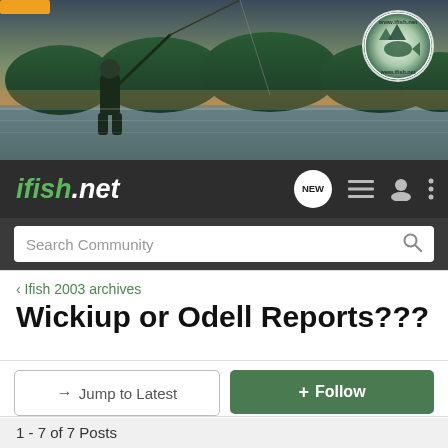[Figure (photo): Banner photo of a fisherman casting a fishing rod on a river at sunset, with green forested hills in the background. The ifish.net logo circle is in the top right corner.]
ifish.net
Search Community
< Ifish 2003 archives
Wickiup or Odell Reports???
→ Jump to Latest
+ Follow
1 - 7 of 7 Posts
sonofafish · Registered
Joined Jan 5, 2003 · 131 Posts